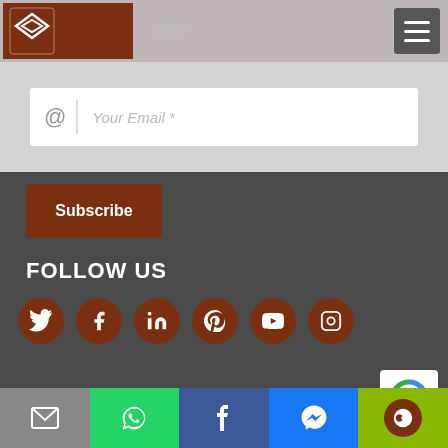[Figure (logo): WOW ETHIOPIA logo with diamond/chevron pattern icon in white on brown background]
Name *
[Figure (screenshot): Email input field with @ icon and 'Your Email *' placeholder text]
[Figure (screenshot): Subscribe button in brown/maroon color with white text]
FOLLOW US
[Figure (infographic): Social media icon buttons: Twitter, Facebook, LinkedIn, Pinterest, YouTube, Instagram — brown circles with white icons]
[Figure (screenshot): reCAPTCHA badge, bottom right]
[Figure (screenshot): Bottom navigation bar with email, WhatsApp, Facebook, Messenger, and share buttons]